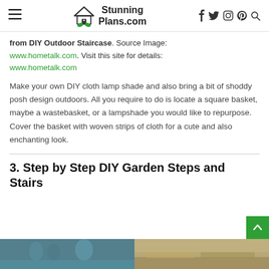StunningPlans.com — navigation header with hamburger menu, logo, social icons (f, twitter, instagram, pinterest, search)
from DIY Outdoor Staircase. Source Image: www.hometalk.com. Visit this site for details: www.hometalk.com
Make your own DIY cloth lamp shade and also bring a bit of shoddy posh design outdoors. All you require to do is locate a square basket, maybe a wastebasket, or a lampshade you would like to repurpose. Cover the basket with woven strips of cloth for a cute and also enchanting look.
3. Step by Step DIY Garden Steps and Stairs
[Figure (photo): Two thumbnail images at the bottom of the page — left shows people outdoors (blueish tones), right shows outdoor garden/stone steps area (brownish tones)]